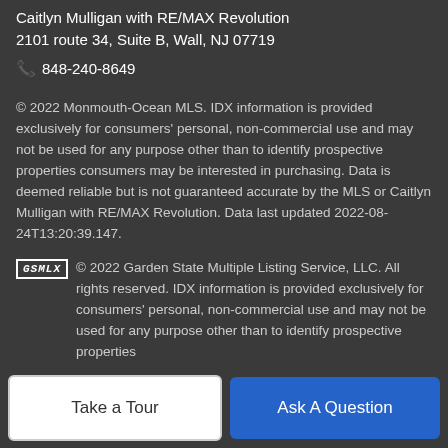Caitlyn Mulligan with RE/MAX Revolution
2101 route 34, Suite B, Wall, NJ 07719
📞 848-240-8649
© 2022 Monmouth-Ocean MLS. IDX information is provided exclusively for consumers' personal, non-commercial use and may not be used for any purpose other than to identify prospective properties consumers may be interested in purchasing. Data is deemed reliable but is not guaranteed accurate by the MLS or Caitlyn Mulligan with RE/MAX Revolution. Data last updated 2022-08-24T13:20:39.147.
[Figure (logo): GSMLX logo — text 'GSMLX' in bold italic with a box border]
© 2022 Garden State Multiple Listing Service, LLC. All rights reserved. IDX information is provided exclusively for consumers' personal, non-commercial use and may not be used for any purpose other than to identify prospective properties
Take a Tour
Ask A Question